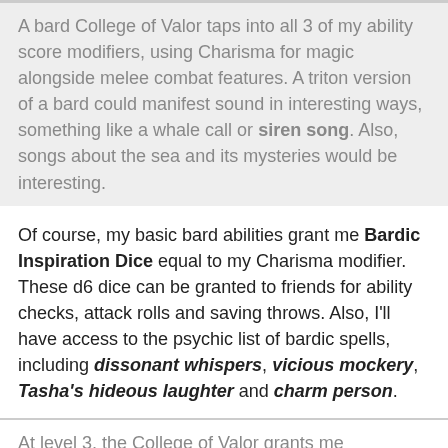A bard College of Valor taps into all 3 of my ability score modifiers, using Charisma for magic alongside melee combat features.  A triton version of a bard could manifest sound in interesting ways, something like a whale call or siren song.  Also, songs about the sea and its mysteries would be interesting.
Of course, my basic bard abilities grant me Bardic Inspiration Dice equal to my Charisma modifier.  These d6 dice can be granted to friends for ability checks, attack rolls and saving throws.  Also, I'll have access to the psychic list of bardic spells, including dissonant whispers, vicious mockery, Tasha's hideous laughter and charm person.
At level 3, the College of Valor grants me